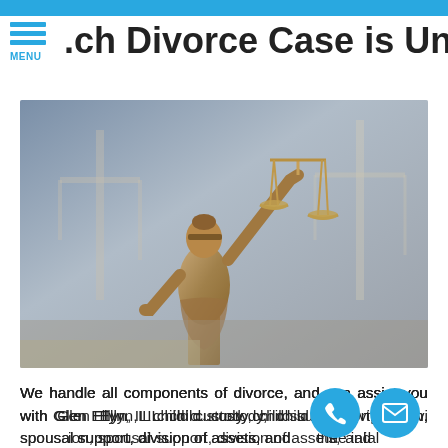ch Divorce Case is Unique
[Figure (photo): Bronze statue of Lady Justice (Themis) holding scales of justice, blurred balance scale in the background]
We handle all components of divorce, and can assist you with Glen Ellyn, IL child custody, child support, visitation, spousal support, division of assets, and other marital